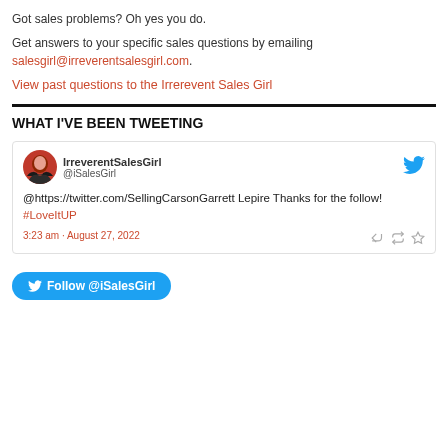Got sales problems? Oh yes you do.
Get answers to your specific sales questions by emailing salesgirl@irreverentsalesgirl.com.
View past questions to the Irrerevent Sales Girl
WHAT I'VE BEEN TWEETING
IrreverentSalesGirl @iSalesGirl
@https://twitter.com/SellingCarsonGarrett Lepire Thanks for the follow! #LoveItUP
3:23 am · August 27, 2022
Follow @iSalesGirl